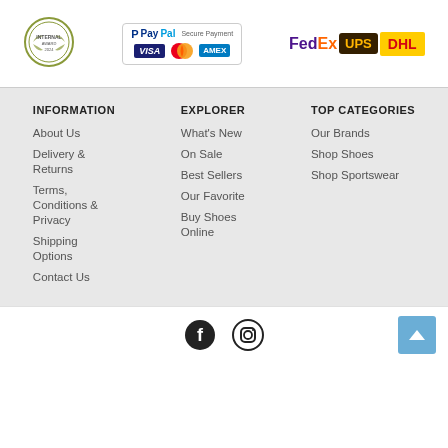[Figure (logo): Circular badge/seal logo]
[Figure (logo): PayPal Secure Payment with Visa, MasterCard, Amex cards]
[Figure (logo): FedEx, UPS, DHL shipping logos]
INFORMATION
About Us
Delivery & Returns
Terms, Conditions & Privacy
Shipping Options
Contact Us
EXPLORER
What's New
On Sale
Best Sellers
Our Favorite
Buy Shoes Online
TOP CATEGORIES
Our Brands
Shop Shoes
Shop Sportswear
[Figure (logo): Facebook and Instagram social media icons]
[Figure (other): Back to top arrow button]